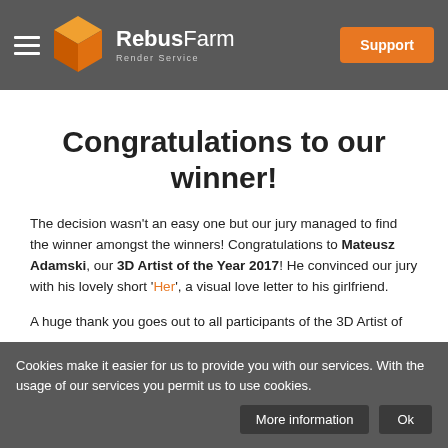RebusFarm Render Service — Support
Congratulations to our winner!
The decision wasn't an easy one but our jury managed to find the winner amongst the winners! Congratulations to Mateusz Adamski, our 3D Artist of the Year 2017! He convinced our jury with his lovely short 'Her', a visual love letter to his girlfriend.
A huge thank you goes out to all participants of the 3D Artist of
Cookies make it easier for us to provide you with our services. With the usage of our services you permit us to use cookies.